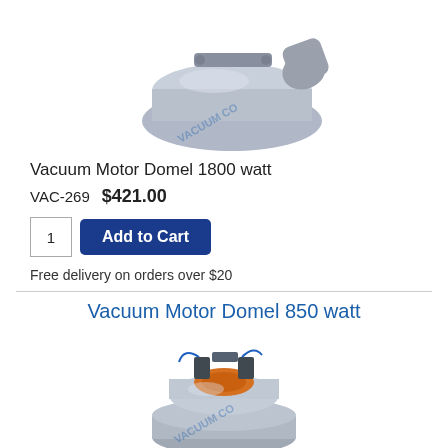[Figure (photo): Photo of Vacuum Motor Domel 1800 watt, a metallic silver vacuum motor with a cylindrical inlet tube, with a blue diagonal watermark reading VACUUM CO]
Vacuum Motor Domel 1800 watt
VAC-269   $421.00
1   Add to Cart
Free delivery on orders over $20
Vacuum Motor Domel 850 watt
[Figure (photo): Photo of Vacuum Motor Domel 850 watt, a smaller metallic silver vacuum motor with orange internal components visible, with a blue diagonal watermark reading VACUUM CO]